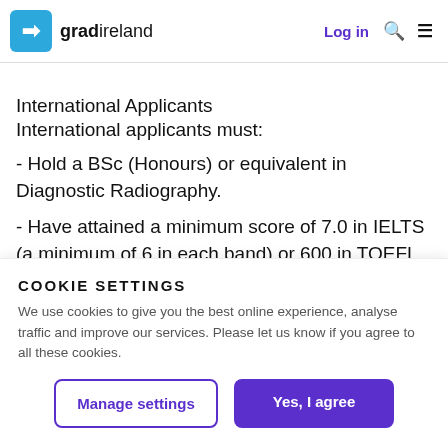gradireland  Log in
International Applicants
International applicants must:
- Hold a BSc (Honours) or equivalent in Diagnostic Radiography.
- Have attained a minimum score of 7.0 in IELTS (a minimum of 6 in each band) or 600 in TOEFL (250+
COOKIE SETTINGS
We use cookies to give you the best online experience, analyse traffic and improve our services. Please let us know if you agree to all these cookies.
Manage settings
Yes, I agree